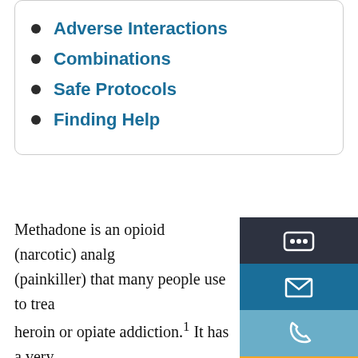Adverse Interactions
Combinations
Safe Protocols
Finding Help
Methadone is an opioid (narcotic) analgesic (painkiller) that many people use to treat heroin or opiate addiction.¹ It has a very long half-life, which means that it stays in an individual's system for a long time, so other medications can affect its efficacy.
[Figure (infographic): Contact sidebar with three icon buttons (share/dots, envelope/email, phone) and an orange Contact button]